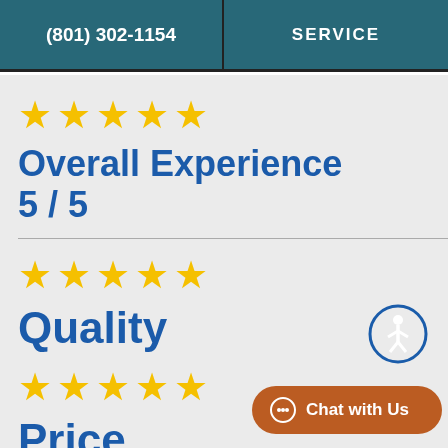(801) 302-1154 | SERVICE
★★★★★
Overall Experience 5 / 5
★★★★★
Quality
★★★★★
Price
Se rvi ce Ne ar Sto nef
[Figure (illustration): Accessibility icon (person in circle)]
Chat with Us